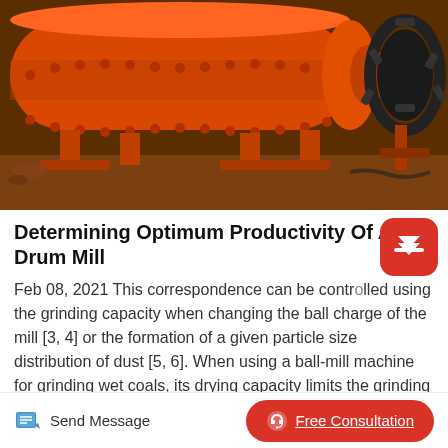[Figure (photo): Large orange ball drum mill machine photographed in a warehouse/factory setting. The cylindrical orange mill dominates the image with gearing visible on the right end.]
Determining Optimum Productivity Of A Ball Drum Mill
Feb 08, 2021 This correspondence can be controlled using the grinding capacity when changing the ball charge of the mill [3, 4] or the formation of a given particle size distribution of dust [5, 6]. When using a ball-mill machine for grinding wet coals, its drying capacity limits the grinding capacity.
Send Message
Free Consultation